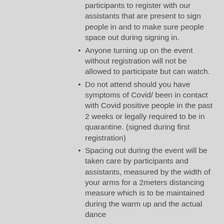participants to register with our assistants that are present to sign people in and to make sure people space out during signing in.
Anyone turning up on the event without registration will not be allowed to participate but can watch.
Do not attend should you have symptoms of Covid/ been in contact with Covid positive people in the past 2 weeks or legally required to be in quarantine.  (signed during first registration)
Spacing out during the event will be taken care by participants and assistants, measured by the width of your arms for a 2meters distancing measure which is to be maintained during the warm up and the actual dance
Assistants will support the spacing out by creating subgroups which are easier to maintain and allow for participants to have more freedom of movement and ease in learning material
The number of participants is limited to 30 people as laid out by the government for outdoors activities
No equipment will be shared under